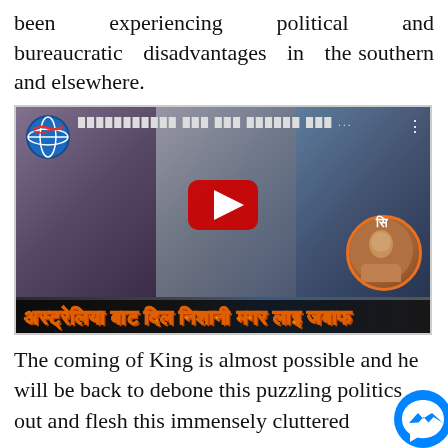been experiencing political and bureaucratic disadvantages in the southern and elsewhere.
[Figure (screenshot): YouTube-style video thumbnail showing three men, a globe logo top-left, Nepali text title at top, red play button in center, small inset circular portrait bottom-right, and yellow Nepali text caption bar at bottom reading: अस्ट्रेलिया बाट दिल निशानी मगर लाइ जबाफ]
The coming of King is almost possible and he will be back to debone this puzzling politics out and flesh this immensely cluttered